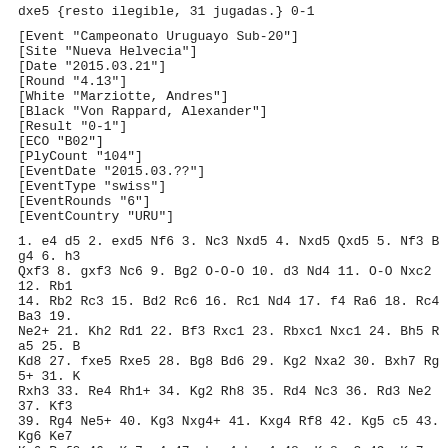dxe5 {resto ilegible, 31 jugadas.} 0-1
[Event "Campeonato Uruguayo Sub-20"]
[Site "Nueva Helvecia"]
[Date "2015.03.21"]
[Round "4.13"]
[White "Marziotte, Andres"]
[Black "Von Rappard, Alexander"]
[Result "0-1"]
[ECO "B02"]
[PlyCount "104"]
[EventDate "2015.03.??"]
[EventType "swiss"]
[EventRounds "6"]
[EventCountry "URU"]
1. e4 d5 2. exd5 Nf6 3. Nc3 Nxd5 4. Nxd5 Qxd5 5. Nf3 Bg4 6. h3 Qxf3 8. gxf3 Nc6 9. Bg2 O-O-O 10. d3 Nd4 11. O-O Nxc2 12. Rb1 14. Rb2 Rc3 15. Bd2 Rc6 16. Rc1 Nd4 17. f4 Ra6 18. Rc4 Ba3 19. Ne2+ 21. Kh2 Rd1 22. Bf3 Rxc1 23. Rbxc1 Nxc1 24. Bh5 Ra5 25. B Kd8 27. fxe5 Rxe5 28. Bg8 Bd6 29. Kg2 Nxa2 30. Bxh7 Rg5+ 31. K Rxh3 33. Re4 Rh1+ 34. Kg2 Rh8 35. Rd4 Nc3 36. Rd3 Ne2 37. Kf3 39. Rg4 Ne5+ 40. Kg3 Nxg4+ 41. Kxg4 Rf8 42. Kg5 c5 43. Kg6 Ke7 Kg6 Rxf2 46. Kg7 c4 47. bxc4 bxc4 48. Kg8 c3 49. Kg7 c2 50. Kg Qg1+ 52. Kh7 Rh2# 0-1
[Event "Campeonato Uruguayo Sub-20"]
[Site "Nueva Helvecia"]
[Date "2015.03.22"]
[Round "5.1"]
[White "Kimelman, Gabriel"]